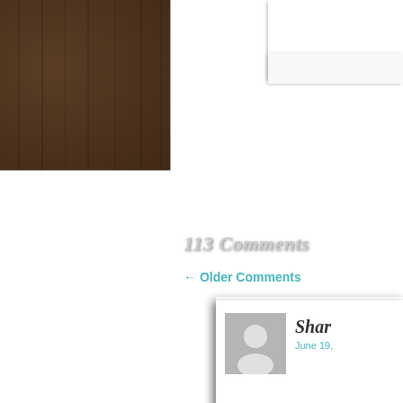[Figure (photo): Dark wood plank background texture covering the left portion and background of the page]
113 Comments
← Older Comments
Jasm
June 19,
Artifabulanticious G
Shar
June 19,